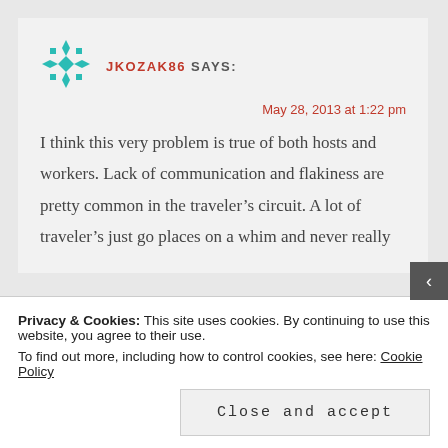[Figure (illustration): Decorative teal geometric/diamond pattern avatar icon]
JKOZAK86 SAYS:
May 28, 2013 at 1:22 pm
I think this very problem is true of both hosts and workers. Lack of communication and flakiness are pretty common in the traveler’s circuit. A lot of traveler’s just go places on a whim and never really
Privacy & Cookies: This site uses cookies. By continuing to use this website, you agree to their use.
To find out more, including how to control cookies, see here: Cookie Policy
Close and accept